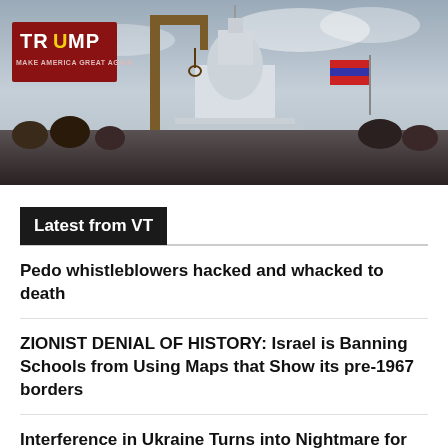[Figure (photo): Crowd scene at US Capitol with Trump flags and a wooden gallows structure visible in foreground, overcast sky]
Latest from VT
Pedo whistleblowers hacked and whacked to death
ZIONIST DENIAL OF HISTORY: Israel is Banning Schools from Using Maps that Show its pre-1967 borders
Interference in Ukraine Turns into Nightmare for West
More Billions to Ukraine as America Falls Apart